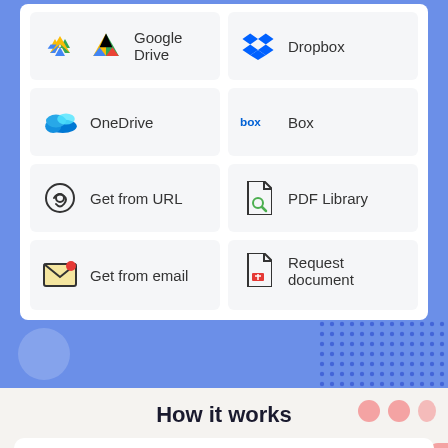[Figure (screenshot): UI screenshot showing a grid of cloud storage and document source options: Google Drive, Dropbox, OneDrive, Box, Get from URL, PDF Library, Get from email, Request document]
How it works
[Figure (illustration): Text editing icon (T with selection handles) on a pink/salmon background card]